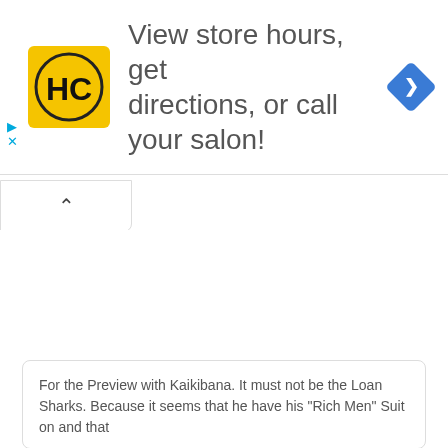[Figure (infographic): Advertisement banner: HC logo on yellow background, text 'View store hours, get directions, or call your salon!', blue diamond navigation icon on right. Small play and close buttons on left side.]
For the Preview with Kaikibana. It must not be the Loan Sharks. Because it seems that he have his "Rich Men" Suit on and that